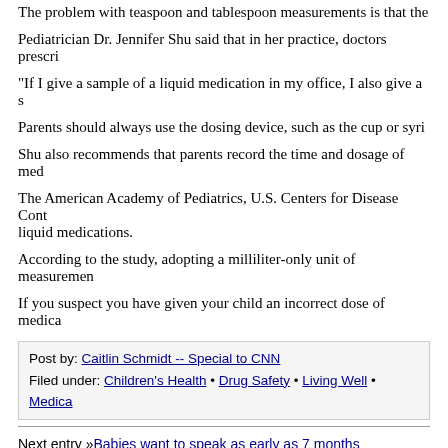The problem with teaspoon and tablespoon measurements is that the
Pediatrician Dr. Jennifer Shu said that in her practice, doctors prescri
“If I give a sample of a liquid medication in my office, I also give a s
Parents should always use the dosing device, such as the cup or syri
Shu also recommends that parents record the time and dosage of med
The American Academy of Pediatrics, U.S. Centers for Disease Cont liquid medications.
According to the study, adopting a milliliter-only unit of measuremen
If you suspect you have given your child an incorrect dose of medica
Post by: Caitlin Schmidt -- Special to CNN
Filed under: Children's Health • Drug Safety • Living Well • Medica
Next entry »Babies want to speak as early as 7 months
« Previous entry5 studies you may have missed
soundoff (1,530 Responses)